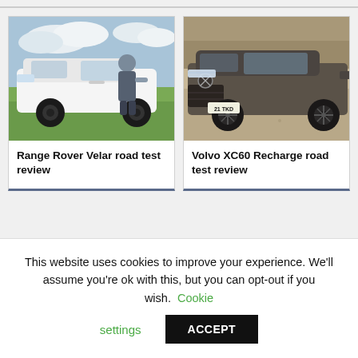[Figure (photo): Man standing next to a white Range Rover Velar SUV on grass with cloudy sky background]
Range Rover Velar road test review
[Figure (photo): Dark grey/bronze Volvo XC60 Recharge SUV parked on gravel with trees in background, registration 21 TKD]
Volvo XC60 Recharge road test review
This website uses cookies to improve your experience. We'll assume you're ok with this, but you can opt-out if you wish. Cookie settings ACCEPT